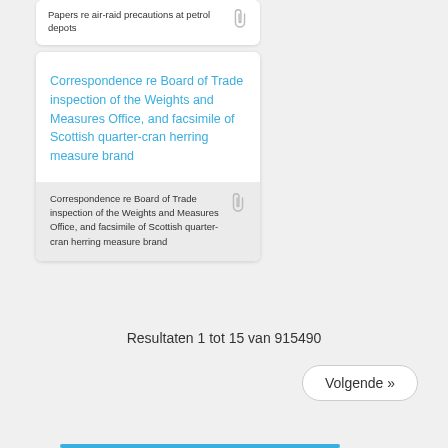Papers re air-raid precautions at petrol depots
Correspondence re Board of Trade inspection of the Weights and Measures Office, and facsimile of Scottish quarter-cran herring measure brand
Correspondence re Board of Trade inspection of the Weights and Measures Office, and facsimile of Scottish quarter-cran herring measure brand
Resultaten 1 tot 15 van 915490
Volgende »